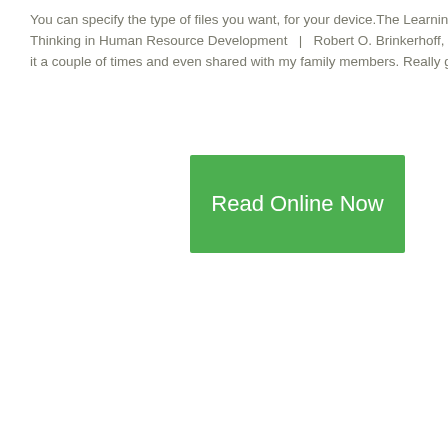You can specify the type of files you want, for your device.The Learning Allianc Thinking in Human Resource Development  |  Robert O. Brinkerhoff, Stephen it a couple of times and even shared with my family members. Really good. Co
[Figure (other): Green 'Read Online Now' button]